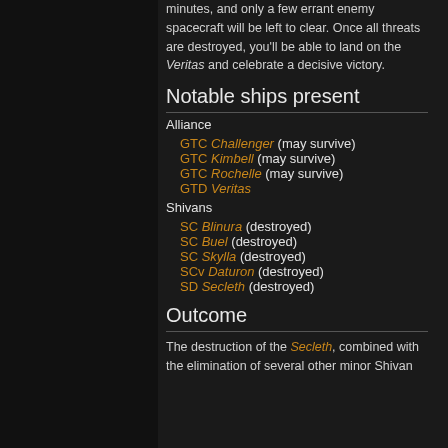...bombers will handle the Shivan warships in minutes, and only a few errant enemy spacecraft will be left to clear. Once all threats are destroyed, you'll be able to land on the Veritas and celebrate a decisive victory.
Notable ships present
Alliance
GTC Challenger (may survive)
GTC Kimbell (may survive)
GTC Rochelle (may survive)
GTD Veritas
Shivans
SC Blinura (destroyed)
SC Buel (destroyed)
SC Skylla (destroyed)
SCv Daturon (destroyed)
SD Secleth (destroyed)
Outcome
The destruction of the Secleth, combined with the elimination of several other minor Shivan